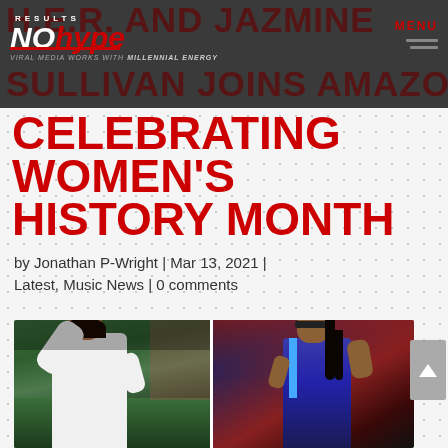H.E.R. AND JAZMINE SULLIVAN JOINS AMAZON IN
CELEBRATING WOMEN'S HISTORY MONTH
by Jonathan P-Wright | Mar 13, 2021 | Latest, Music News | 0 comments
[Figure (photo): Two photos side by side: left photo shows a woman in a white blazer singing into a microphone on a football field; right photo shows a woman with long hair and sunglasses performing at a microphone.]